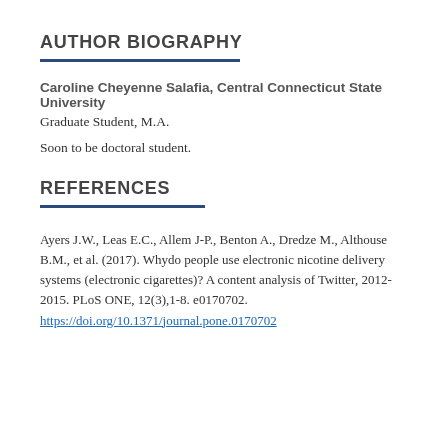AUTHOR BIOGRAPHY
Caroline Cheyenne Salafia, Central Connecticut State University
Graduate Student, M.A.
Soon to be doctoral student.
REFERENCES
Ayers J.W., Leas E.C., Allem J-P., Benton A., Dredze M., Althouse B.M., et al. (2017). Whydo people use electronic nicotine delivery systems (electronic cigarettes)? A content analysis of Twitter, 2012-2015. PLoS ONE, 12(3),1-8. e0170702. https://doi.org/10.1371/journal.pone.0170702